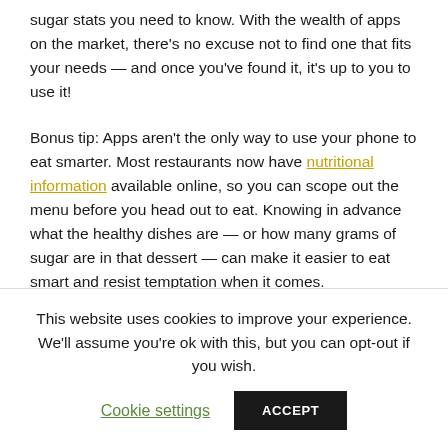sugar stats you need to know. With the wealth of apps on the market, there's no excuse not to find one that fits your needs — and once you've found it, it's up to you to use it!
Bonus tip: Apps aren't the only way to use your phone to eat smarter. Most restaurants now have nutritional information available online, so you can scope out the menu before you head out to eat. Knowing in advance what the healthy dishes are — or how many grams of sugar are in that dessert — can make it easier to eat smart and resist temptation when it comes.
Track Your Health
This website uses cookies to improve your experience. We'll assume you're ok with this, but you can opt-out if you wish.
Cookie settings | ACCEPT